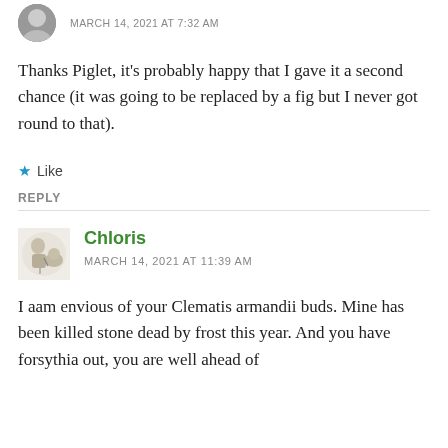MARCH 14, 2021 AT 7:32 AM
Thanks Piglet, it's probably happy that I gave it a second chance (it was going to be replaced by a fig but I never got round to that).
★ Like
REPLY
Chloris
MARCH 14, 2021 AT 11:39 AM
I aam envious of your Clematis armandii buds. Mine has been killed stone dead by frost this year. And you have forsythia out, you are well ahead of